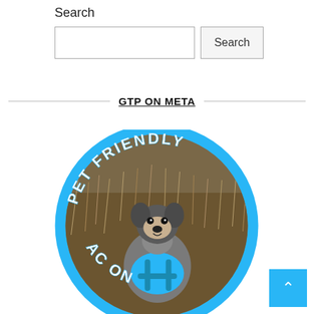Search
[Figure (screenshot): Search input box with a Search button]
GTP ON META
[Figure (photo): Circular badge with blue border showing a dog (Boston Terrier type wearing a blue harness) sitting in dry grass. Text arced at top reads 'PET FRIENDLY' and partially visible text at bottom reads 'AC' and 'ON'.]